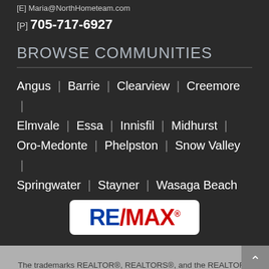[E] Maria@NorthHometeam.com
[P] 705-717-6927
BROWSE COMMUNITIES
Angus | Barrie | Clearview | Creemore | Elmvale | Essa | Innisfil | Midhurst | Oro-Medonte | Phelpston | Snow Valley | Springwater | Stayner | Wasaga Beach
[Figure (logo): RE/MAX logo in red and blue on white rounded rectangle background]
The trademarks REALTOR®, REALTORS®, and the REALTOR® logo are controlled by The Canadian Real Estate Association (CREA) and identify real estate professionals who are members of CREA. The trademarks MLS®, Multiple Listing Service® and the